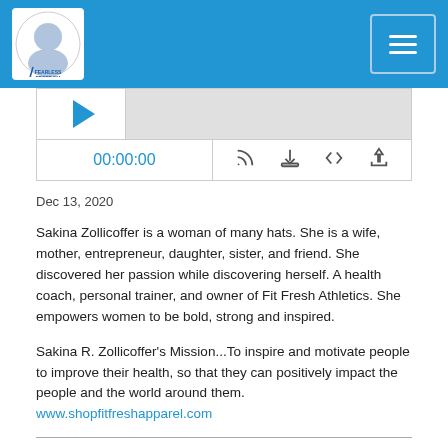[Figure (logo): Fearless Freedom podcast logo with circular avatar and blue background header, hamburger menu button top right]
[Figure (screenshot): Podcast audio player with waveform, timestamp 00:00:00, and control icons (RSS, download, embed, share)]
Dec 13, 2020
Sakina Zollicoffer is a woman of many hats. She is a wife, mother, entrepreneur, daughter, sister, and friend. She discovered her passion while discovering herself. A health coach, personal trainer, and owner of Fit Fresh Athletics. She empowers women to be bold, strong and inspired.
Sakina R. Zollicoffer’s Mission...To inspire and motivate people to improve their health, so that they can positively impact the people and the world around them.
www.shopfitfreshapparel.com